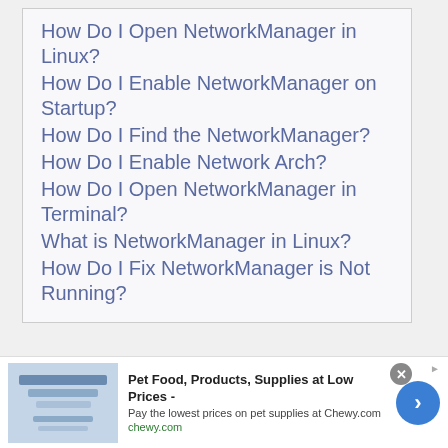How Do I Open NetworkManager in Linux?
How Do I Enable NetworkManager on Startup?
How Do I Find the NetworkManager?
How Do I Enable Network Arch?
How Do I Open NetworkManager in Terminal?
What is NetworkManager in Linux?
How Do I Fix NetworkManager is Not Running?
How Do I Open
[Figure (infographic): Advertisement banner for Chewy.com: Pet Food, Products, Supplies at Low Prices. Pay the lowest prices on pet supplies at Chewy.com. Shows chewy.com URL, close button, and navigation arrow.]